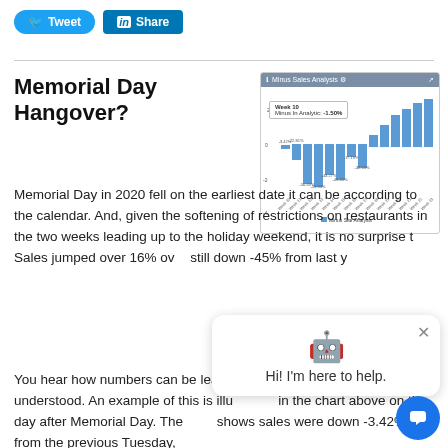[Figure (infographic): Twitter Tweet button and LinkedIn Share button]
Memorial Day Hangover?
[Figure (bar-chart): Bar chart showing weekly minus sales analysis with weeks on x-axis and percentage values including -22.81%, -56.69%, -59.84%, -43.27%, -49.65%, -17.19%, -32.55% visible as labels on bars]
Memorial Day in 2020 fell on the earliest date it can be according to the calendar. And, given the softening of restrictions on restaurants in the two weeks leading up to the holiday weekend, it is no surprise that Sales jumped over 16% over...still down -45% from last y...
You hear how numbers can be lead you to the wrong conclusion if not understood. An example of this is illu... in the chart above on the day after Memorial Day. The... shows sales were down -3.42% from the previous Tuesday,
[Figure (screenshot): Chatbot popup with robot emoji and text Hi! I'm here to help. and close button X]